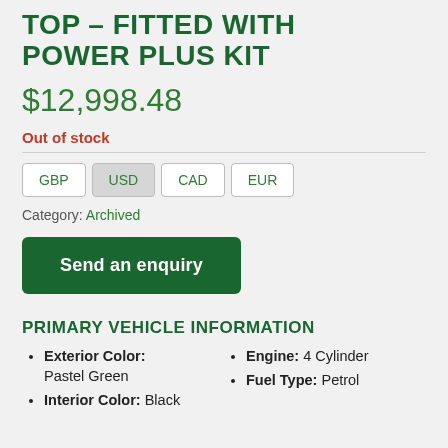TOP – FITTED WITH POWER PLUS KIT
$12,998.48
Out of stock
Currency options: GBP, USD, CAD, EUR
Category: Archived
Send an enquiry
PRIMARY VEHICLE INFORMATION
Exterior Color: Pastel Green
Engine: 4 Cylinder
Fuel Type: Petrol
Interior Color: Black